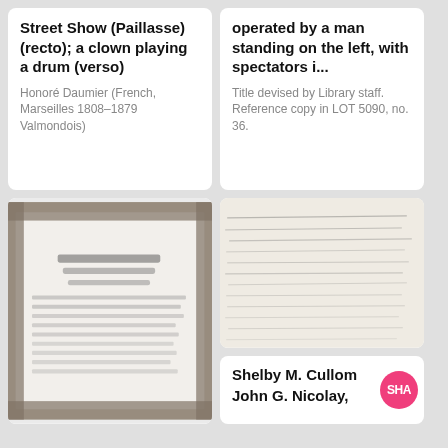Street Show (Paillasse) (recto); a clown playing a drum (verso)
Honoré Daumier (French, Marseilles 1808–1879 Valmondois)
operated by a man standing on the left, with spectators i...
Title devised by Library staff. Reference copy in LOT 5090, no. 36.
[Figure (photo): Blurred black and white image of a decorative document or poster with ornate border]
[Figure (photo): Blurred black and white image of a handwritten document or letter]
Shelby M. Cullom SHA John G. Nicolay,